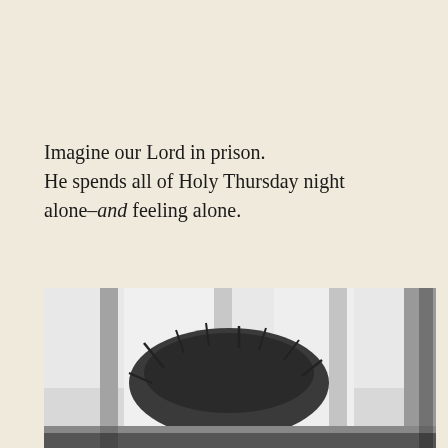Imagine our Lord in prison. He spends all of Holy Thursday night alone–and feeling alone.
[Figure (photo): Black and white photograph viewed through prison bars showing what appears to be a crown of thorns behind metal bars and a horizontal bar across the bottom, evoking the image of Christ imprisoned.]